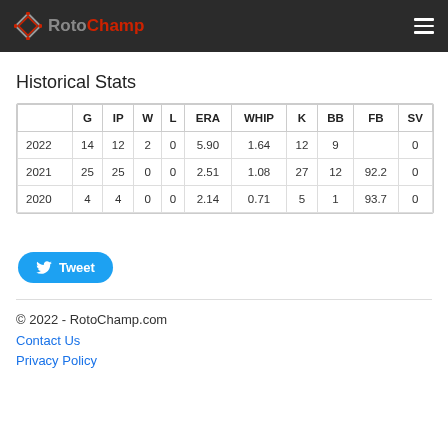RotoChamp
Historical Stats
|  | G | IP | W | L | ERA | WHIP | K | BB | FB | SV |
| --- | --- | --- | --- | --- | --- | --- | --- | --- | --- | --- |
| 2022 | 14 | 12 | 2 | 0 | 5.90 | 1.64 | 12 | 9 |  | 0 |
| 2021 | 25 | 25 | 0 | 0 | 2.51 | 1.08 | 27 | 12 | 92.2 | 0 |
| 2020 | 4 | 4 | 0 | 0 | 2.14 | 0.71 | 5 | 1 | 93.7 | 0 |
Tweet
© 2022 - RotoChamp.com
Contact Us
Privacy Policy